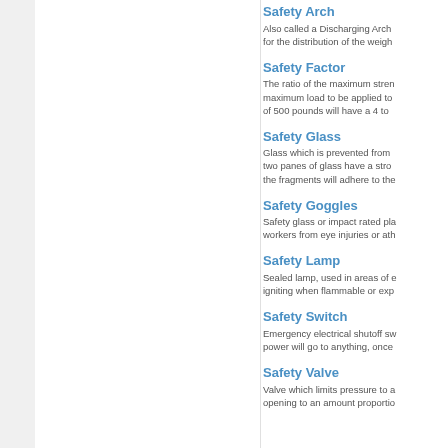Safety Arch
Also called a Discharging Arch for the distribution of the weigh
Safety Factor
The ratio of the maximum stren maximum load to be applied to of 500 pounds will have a 4 to
Safety Glass
Glass which is prevented from two panes of glass have a stro the fragments will adhere to the
Safety Goggles
Safety glass or impact rated pla workers from eye injuries or ath
Safety Lamp
Sealed lamp, used in areas of igniting when flammable or exp
Safety Switch
Emergency electrical shutoff sw power will go to anything, once
Safety Valve
Valve which limits pressure to a opening to an amount proportio